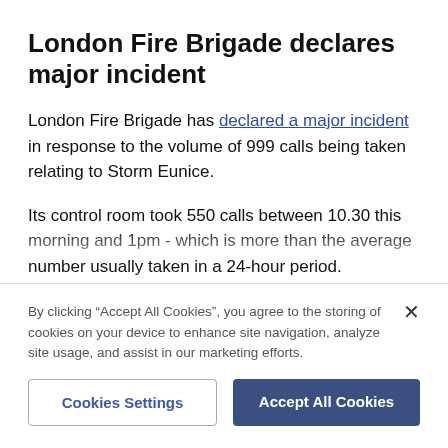London Fire Brigade declares major incident
London Fire Brigade has declared a major incident in response to the volume of 999 calls being taken relating to Storm Eunice.
Its control room took 550 calls between 10.30 this morning and 1pm - which is more than the average number usually taken in a 24-hour period.
Control staff have introduced batch mobilisation to
By clicking “Accept All Cookies”, you agree to the storing of cookies on your device to enhance site navigation, analyze site usage, and assist in our marketing efforts.
Cookies Settings
Accept All Cookies